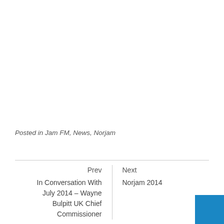Posted in Jam FM, News, Norjam
Prev
In Conversation With July 2014 – Wayne Bulpitt UK Chief Commissioner
Next
Norjam 2014